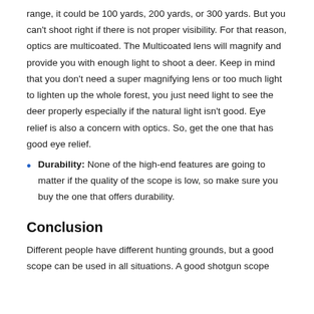range, it could be 100 yards, 200 yards, or 300 yards. But you can't shoot right if there is not proper visibility. For that reason, optics are multicoated. The Multicoated lens will magnify and provide you with enough light to shoot a deer. Keep in mind that you don't need a super magnifying lens or too much light to lighten up the whole forest, you just need light to see the deer properly especially if the natural light isn't good. Eye relief is also a concern with optics. So, get the one that has good eye relief.
Durability: None of the high-end features are going to matter if the quality of the scope is low, so make sure you buy the one that offers durability.
Conclusion
Different people have different hunting grounds, but a good scope can be used in all situations. A good shotgun scope